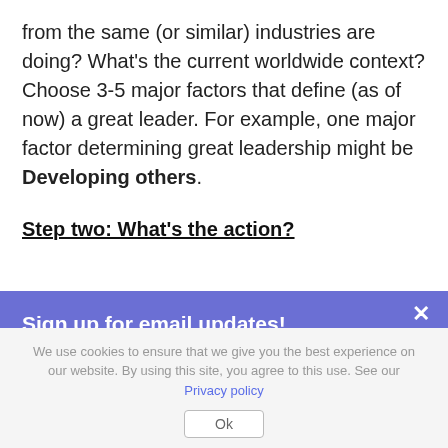from the same (or similar) industries are doing? What's the current worldwide context? Choose 3-5 major factors that define (as of now) a great leader. For example, one major factor determining great leadership might be Developing others.
Step two: What's the action?
[Figure (other): Email signup overlay with purple background, title 'Sign up for email updates!', body text about joining community of leaders, and a close X button]
Sign up for email updates!
Join our community of leaders and stay in touch with the latest industry trends about people and culture and the future of work!
We use cookies to ensure that we give you the best experience on our website. By using this site, you agree to this use. See our Privacy policy